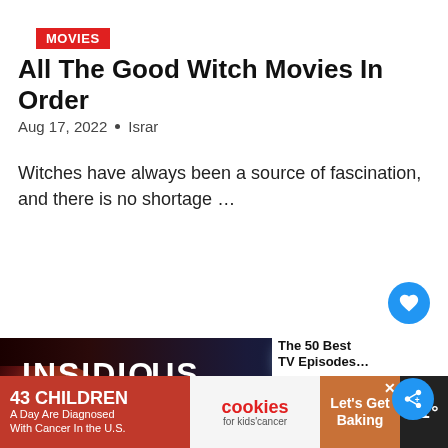MOVIES
All The Good Witch Movies In Order
Aug 17, 2022 • Israr
Witches have always been a source of fascination, and there is no shortage …
[Figure (photo): Movie poster for Insidious showing a boy's face on the left with red lighting, a wild-haired creature in the middle with blue lighting, and a figure holding a lantern on the right]
43 CHILDREN A Day Are Diagnosed With Cancer in the U.S. cookies for kids' cancer Let's Get Baking